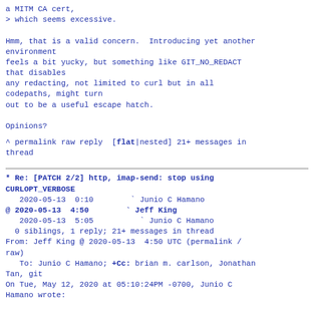a MITM CA cert,
> which seems excessive.

Hmm, that is a valid concern.  Introducing yet another environment
feels a bit yucky, but something like GIT_NO_REDACT that disables
any redacting, not limited to curl but in all codepaths, might turn
out to be a useful escape hatch.

Opinions?
^ permalink raw reply  [flat|nested] 21+ messages in thread
* Re: [PATCH 2/2] http, imap-send: stop using CURLOPT_VERBOSE
2020-05-13  0:10        ` Junio C Hamano
@ 2020-05-13  4:50        ` Jeff King
  2020-05-13  5:05          ` Junio C Hamano
  0 siblings, 1 reply; 21+ messages in thread
From: Jeff King @ 2020-05-13  4:50 UTC (permalink / raw)
   To: Junio C Hamano; +Cc: brian m. carlson, Jonathan Tan, git
On Tue, May 12, 2020 at 05:10:24PM -0700, Junio C Hamano wrote: